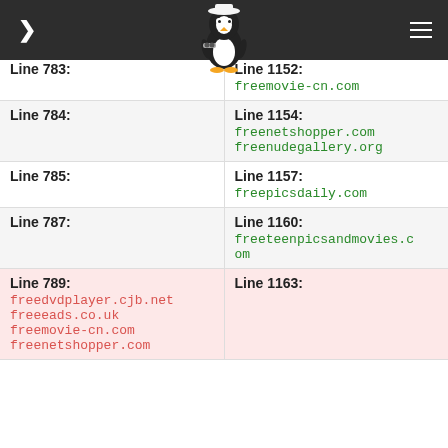Navigation header with penguin logo
| Left | Right |
| --- | --- |
| Line 783: | Line 1152:
freemovie-cn.com |
| Line 784: | Line 1154:
freenetshopper.com
freenudegallery.org |
| Line 785: | Line 1157:
freepicsdaily.com |
| Line 787: | Line 1160:
freeteenpicsandmovies.com |
| Line 789:
freedvdplayer.cjb.net
freeeads.co.uk
freemovie-cn.com
freenetshopper.com | Line 1163: |